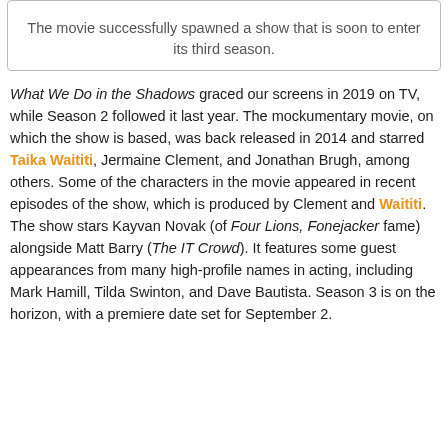The movie successfully spawned a show that is soon to enter its third season.
What We Do in the Shadows graced our screens in 2019 on TV, while Season 2 followed it last year. The mockumentary movie, on which the show is based, was back released in 2014 and starred Taika Waititi, Jermaine Clement, and Jonathan Brugh, among others. Some of the characters in the movie appeared in recent episodes of the show, which is produced by Clement and Waititi. The show stars Kayvan Novak (of Four Lions, Fonejacker fame) alongside Matt Barry (The IT Crowd). It features some guest appearances from many high-profile names in acting, including Mark Hamill, Tilda Swinton, and Dave Bautista. Season 3 is on the horizon, with a premiere date set for September 2.